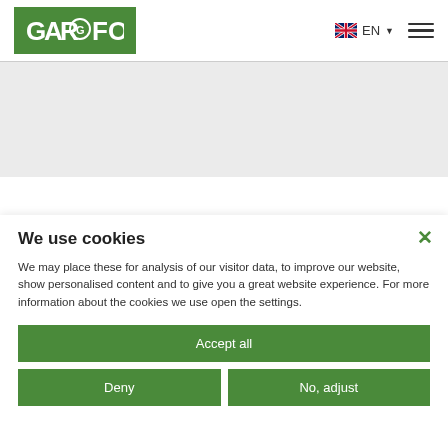[Figure (logo): Garofoli company logo — white text on green background]
EN
[Figure (other): Hamburger menu icon (three horizontal lines)]
[Figure (other): Gray content area placeholder]
We use cookies
We may place these for analysis of our visitor data, to improve our website, show personalised content and to give you a great website experience. For more information about the cookies we use open the settings.
Accept all
Deny
No, adjust